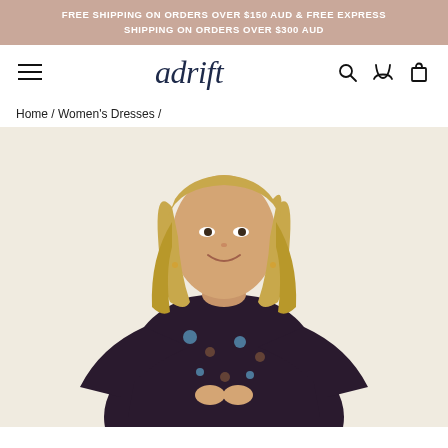FREE SHIPPING ON ORDERS OVER $150 AUD & FREE EXPRESS SHIPPING ON ORDERS OVER $300 AUD
[Figure (logo): Adrift brand logo in dark navy cursive script]
Home / Women's Dresses /
[Figure (photo): A smiling blonde woman wearing a dark floral/paisley patterned dress with long sleeves, photographed against a warm beige background, showing the upper body and face]